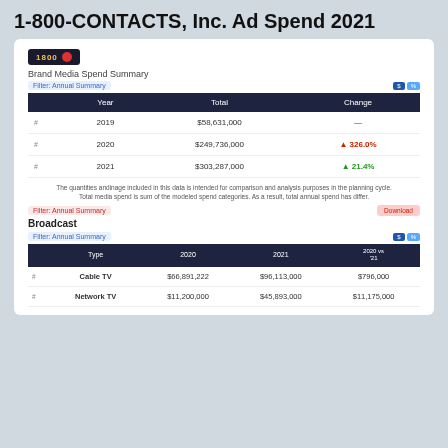1-800-CONTACTS, Inc. Ad Spend 2021
[Figure (logo): 1-800-CONTACTS logo with dark background and red dot]
Brand Media Spend Summary
| Year | Total | Change |
| --- | --- | --- |
| # | 2019 | $58,631,000 | — |
| # | 2020 | $249,736,000 | ▲ 326.0% |
| # | 2021 | $303,287,000 | ▲ 21.4% |
The quantities andinage included in this data is intended for comparison and analysis purposes in the planning cycle. Total media spend is sum of the modeled spend categories. As a result, total annual spend has differ.
Broadcast
| Type | 2020 | 2021 | 2020 vs '21 |
| --- | --- | --- | --- |
| # | Cable TV | $66,891,222 | $96,113,000 | $796,000 |
| # | Network TV | $11,200,000 | $45,893,000 | $11,175,000 |